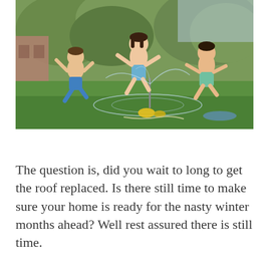[Figure (photo): Three children in swimwear jumping in the air over a sprinkler in a green backyard lawn on a sunny day, with trees and a house in the background.]
The question is, did you wait to long to get the roof replaced. Is there still time to make sure your home is ready for the nasty winter months ahead? Well rest assured there is still time. You can have it done to your home.